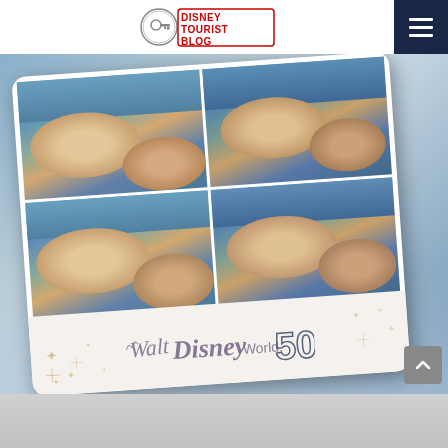DisneyTouristBlog
[Figure (photo): A Walt Disney World 50th anniversary photo strip showing a man and woman taking selfies together in four panels arranged in a 2x2 grid, with the Walt Disney World 50th anniversary logo at the bottom of the strip. The strip is tilted slightly and displayed against a blurred Magic Kingdom background.]